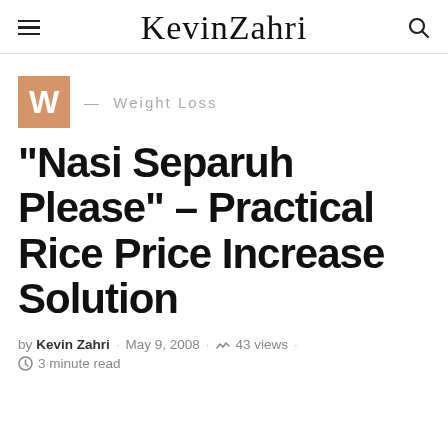KevinZahri
W — Weight Loss
"Nasi Separuh Please" – Practical Rice Price Increase Solution
by Kevin Zahri · May 9, 2008 · 43 views · 3 minute read